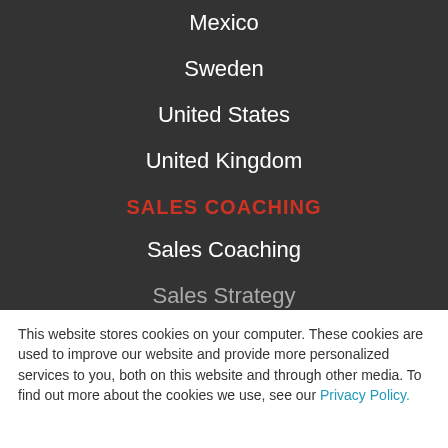Mexico
Sweden
United States
United Kingdom
SALES COACHING
Sales Coaching
Sales Strategy
This website stores cookies on your computer. These cookies are used to improve our website and provide more personalized services to you, both on this website and through other media. To find out more about the cookies we use, see our Privacy Policy.
Accept
Decline